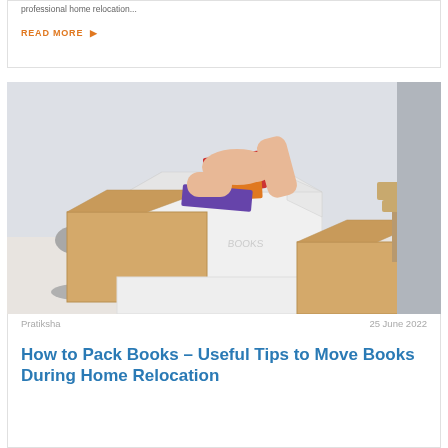professional home relocation...
READ MORE ▶
[Figure (photo): Person packing books into a labeled BOOKS cardboard moving box, surrounded by other boxes, with a silver lamp on the left]
Pratiksha
25 June 2022
How to Pack Books – Useful Tips to Move Books During Home Relocation